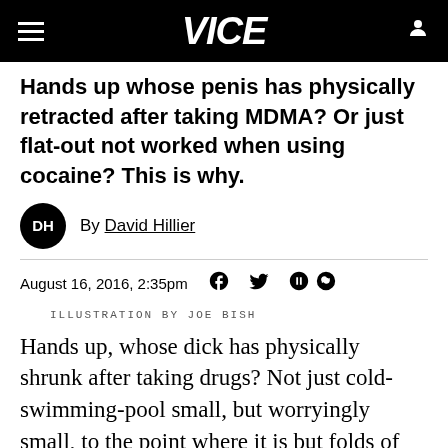VICE
Hands up whose penis has physically retracted after taking MDMA? Or just flat-out not worked when using cocaine? This is why.
By David Hillier
August 16, 2016, 2:35pm
ILLUSTRATION BY JOE BISH
Hands up, whose dick has physically shrunk after taking drugs? Not just cold-swimming-pool small, but worryingly small, to the point where it is but folds of skin bunched up and fastened awkwardly to your crotch; a thumb